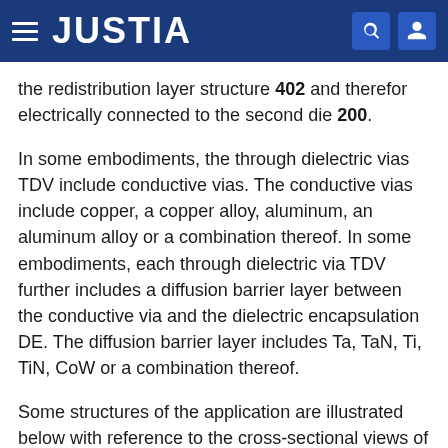JUSTIA
the redistribution layer structure 402 and therefor electrically connected to the second die 200.
In some embodiments, the through dielectric vias TDV include conductive vias. The conductive vias include copper, a copper alloy, aluminum, an aluminum alloy or a combination thereof. In some embodiments, each through dielectric via TDV further includes a diffusion barrier layer between the conductive via and the dielectric encapsulation DE. The diffusion barrier layer includes Ta, TaN, Ti, TiN, CoW or a combination thereof.
Some structures of the application are illustrated below with reference to the cross-sectional views of FIG. 1, FIG. 4, FIG. 5 and FIG. 6 as well as the top views of FIG. 2 and FIG. 7.
In some embodiments, as shown in FIG. 1 and FIG. 4-6, a